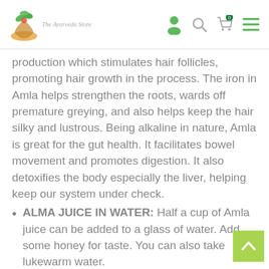The Ayurveda Store
production which stimulates hair follicles, promoting hair growth in the process. The iron in Amla helps strengthen the roots, wards off premature greying, and also helps keep the hair silky and lustrous. Being alkaline in nature, Amla is great for the gut health. It facilitates bowel movement and promotes digestion. It also detoxifies the body especially the liver, helping keep our system under check.
ALMA JUICE IN WATER: Half a cup of Amla juice can be added to a glass of water. Add some honey for taste. You can also take lukewarm water.
NATURAL SOURCE OF VITAMIN C: This amla juice contains no sugar, no artificial flavours, no added